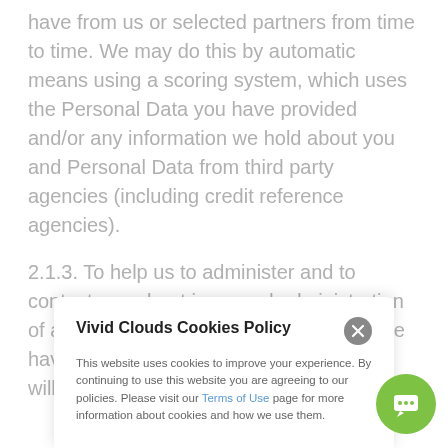have from us or selected partners from time to time. We may do this by automatic means using a scoring system, which uses the Personal Data you have provided and/or any information we hold about you and Personal Data from third party agencies (including credit reference agencies).
2.1.3. To help us to administer and to contact you about improved administration of any accounts, services and products we have provided before, do provide now or will or may provide in the
Vivid Clouds Cookies Policy
This website uses cookies to improve your experience. By continuing to use this website you are agreeing to our policies. Please visit our Terms of Use page for more information about cookies and how we use them.